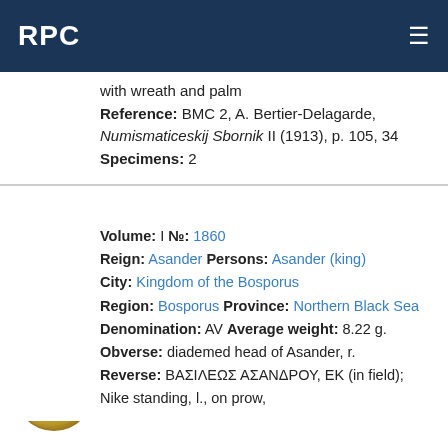RPC
with wreath and palm
Reference: BMC 2, A. Bertier-Delagarde, Numismaticeskij Sbornik II (1913), p. 105, 34 Specimens: 2
Volume: I №: 1860
Reign: Asander Persons: Asander (king)
City: Kingdom of the Bosporus
Region: Bosporus Province: Northern Black Sea
Denomination: AV Average weight: 8.22 g.
Obverse: diademed head of Asander, r.
Reverse: ΒΑΣΙΛΕΩΣ ΑΣΑΝΔΡΟΥ, ΕΚ (in field); Nike standing, l., on prow,